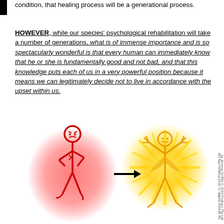condition, that healing process will be a generational process.
HOWEVER, while our species' psychological rehabilitation will take a number of generations, what is of immense importance and is so spectacularly wonderful is that every human can immediately know that he or she is fundamentally good and not bad, and that this knowledge puts each of us in a very powerful position because it means we can legitimately decide not to live in accordance with the upset within us.
[Figure (illustration): Two stick figures: on the left, a red angry/upset stick figure surrounded by a red glow; an arrow points right to a golden/yellow glowing stick figure with arms raised in joy, surrounded by yellow radiant light. Watermark text reads: by Jeremy Griffith © 2019 Fedmex Pty Ltd]